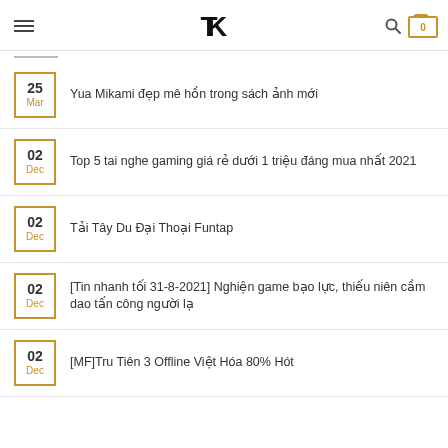TK — navigation header with hamburger menu, logo, search icon, and cart
25 Mar — Yua Mikami đẹp mê hồn trong sách ảnh mới
02 Dec — Top 5 tai nghe gaming giá rẻ dưới 1 triệu đáng mua nhất 2021
02 Dec — Tải Tây Du Đại Thoại Funtap
02 Dec — [Tin nhanh tối 31-8-2021] Nghiện game bạo lực, thiếu niên cầm dao tấn công người lạ
02 Dec — [MF]Tru Tiên 3 Offline Việt Hóa 80% Hót